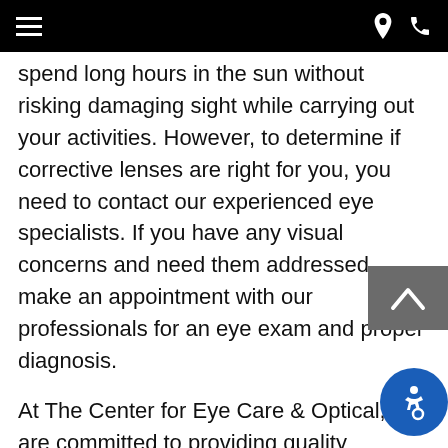Navigation bar with menu, location, and phone icons
spend long hours in the sun without risking damaging sight while carrying out your activities. However, to determine if corrective lenses are right for you, you need to contact our experienced eye specialists. If you have any visual concerns and need them addressed, make an appointment with our professionals for an eye exam and proper diagnosis.
At The Center for Eye Care & Optical, we are committed to providing quality ophthalmology services. Our latest technology in retinal imaging makes us the best onsite optical center in West Islip, NY. We also have a selection of the latest sunglasses. Our professionals are willing to help you choose best sunglasses to ensure maximum eye protection